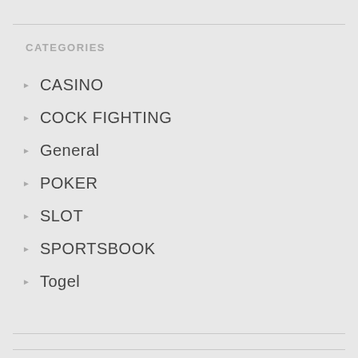CATEGORIES
CASINO
COCK FIGHTING
General
POKER
SLOT
SPORTSBOOK
Togel